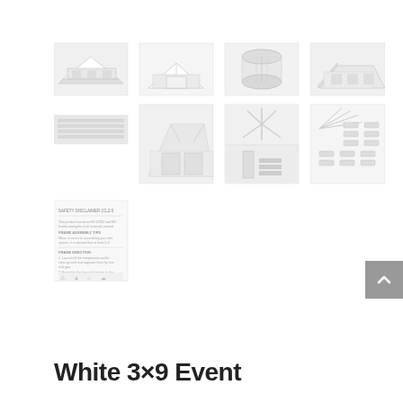[Figure (photo): Grid of 9 product images showing a white 3x9 event tent from various angles: exterior front view, side view, rolled canvas, angled exterior, interior fabric detail, interior wide shot, structural joint detail, hardware/stakes components, and an instruction manual page.]
White 3×9 Event